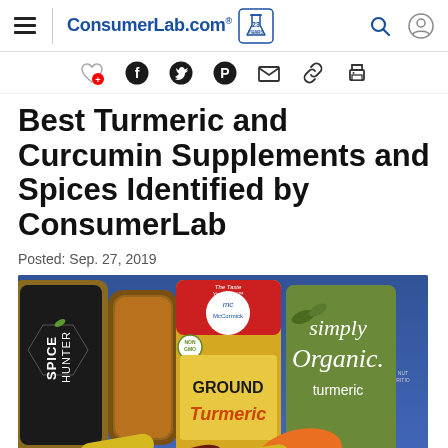ConsumerLab.com — 23 Years
[Figure (screenshot): Social sharing icons row: heart/favorite, Facebook, Twitter, Pinterest, email, link, print]
Best Turmeric and Curcumin Supplements and Spices Identified by ConsumerLab
Posted: Sep. 27, 2019
[Figure (photo): Photo of turmeric supplement capsules and spice jars on a blue surface. Jars include The Spice Hunter, McCormick Ground Turmeric (Non GMO, The Taste You Trust), and Simply Organic turmeric. Yellow, orange, and dark red/brown capsules are scattered in the foreground.]